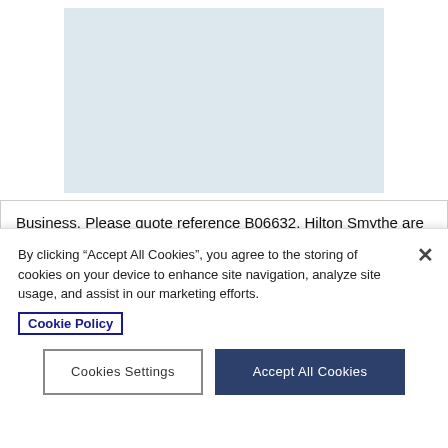[Figure (photo): Light blue rectangular image placeholder for a business listing photo]
Business. Please quote reference B06632. Hilton Smythe are pleased to have been given the opportunity to manage the sale of Ali Baba's which is a well-established Takeaway, Shisha and Delivery Service... More details »
Asking Price: £239,000
Turnover: On request
By clicking "Accept All Cookies", you agree to the storing of cookies on your device to enhance site navigation, analyze site usage, and assist in our marketing efforts. Cookie Policy
Cookies Settings
Accept All Cookies